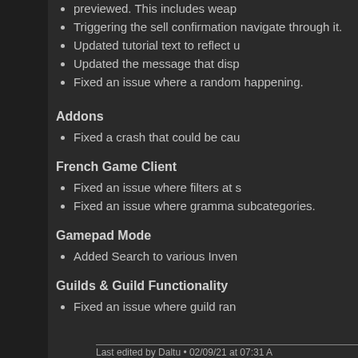previewed. This includes weap
Triggering the sell confirmation navigate through it.
Updated tutorial text to reflect u
Updated the message that disp
Fixed an issue where a random happening.
Addons
Fixed a crash that could be cau
French Game Client
Fixed an issue where filters at s
Fixed an issue where gramma subcategories.
Gamepad Mode
Added Search to various Inven
Guilds & Guild Functionality
Fixed an issue where guild ran
Last edited by Daltu • 02/09/21 at 07:31 A